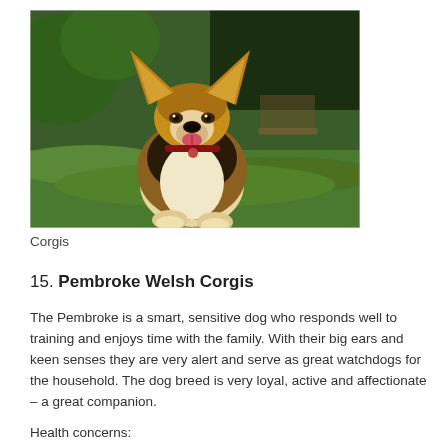[Figure (photo): A Pembroke Welsh Corgi sitting on green grass outdoors, facing forward with mouth open and tongue out, wearing a red collar. Background shows green trees and a blurred bench.]
Corgis
15. Pembroke Welsh Corgis
The Pembroke is a smart, sensitive dog who responds well to training and enjoys time with the family. With their big ears and keen senses they are very alert and serve as great watchdogs for the household. The dog breed is very loyal, active and affectionate – a great companion.
Health concerns: